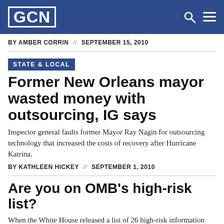GCN
BY AMBER CORRIN  //  SEPTEMBER 15, 2010
STATE & LOCAL
Former New Orleans mayor wasted money with outsourcing, IG says
Inspector general faults former Mayor Ray Nagin for outsourcing technology that increased the costs of recovery after Hurricane Katrina.
BY KATHLEEN HICKEY  //  SEPTEMBER 1, 2010
Are you on OMB's high-risk list?
When the White House released a list of 26 high-risk information technology projects on Aug. 23,